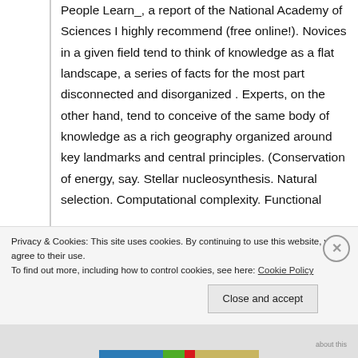People Learn_, a report of the National Academy of Sciences I highly recommend (free online!). Novices in a given field tend to think of knowledge as a flat landscape, a series of facts for the most part disconnected and disorganized . Experts, on the other hand, tend to conceive of the same body of knowledge as a rich geography organized around key landmarks and central principles. (Conservation of energy, say. Stellar nucleosynthesis. Natural selection. Computational complexity. Functional
Privacy & Cookies: This site uses cookies. By continuing to use this website, you agree to their use.
To find out more, including how to control cookies, see here: Cookie Policy
Close and accept